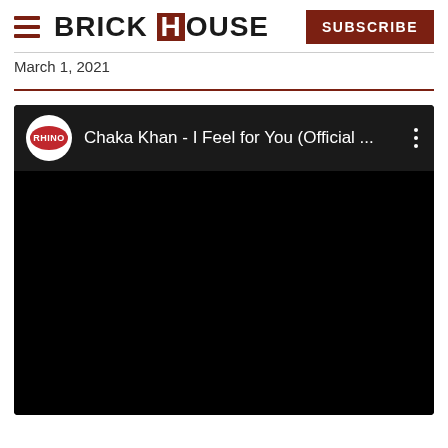BRICK HOUSE | SUBSCRIBE
March 1, 2021
[Figure (screenshot): Embedded YouTube video player showing 'Chaka Khan - I Feel for You (Official ...' with Rhino Records logo, black video frame, and three-dot menu icon]